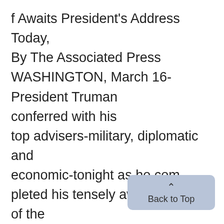f Awaits President's Address Today, By The Associated Press WASHINGTON, March 16-President Truman conferred with his top advisers-military, diplomatic and economic-tonight as he completed his tensely awaited state of the world message. But he called off a meeting he had scheduled with four congressional leaders for 11 a.m. tomorrow-an hour and a half before he is to address Congress and the nation. One of the Congress leaders, House